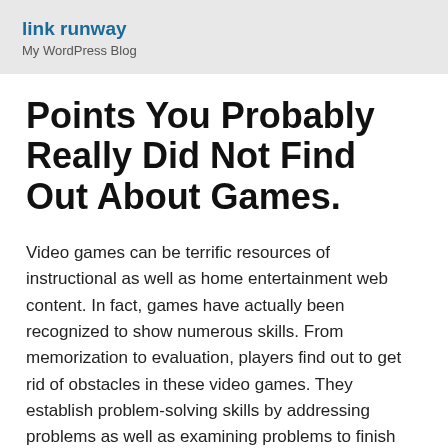link runway
My WordPress Blog
Points You Probably Really Did Not Find Out About Games.
Video games can be terrific resources of instructional as well as home entertainment web content. In fact, games have actually been recognized to show numerous skills. From memorization to evaluation, players find out to get rid of obstacles in these video games. They establish problem-solving skills by addressing problems as well as examining problems to finish the goal. Lots of video